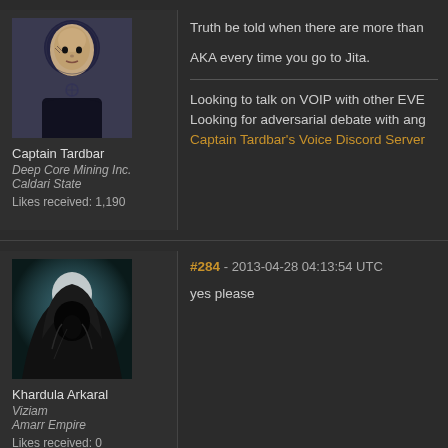[Figure (illustration): Avatar of Captain Tardbar - bald male character with tattoos in dark clothing, sci-fi game character portrait]
Captain Tardbar
Deep Core Mining Inc.
Caldari State
Likes received: 1,190
Truth be told when there are more than
AKA every time you go to Jita.
Looking to talk on VOIP with other EVE
Looking for adversarial debate with ang
Captain Tardbar's Voice Discord Server
#284 - 2013-04-28 04:13:54 UTC
yes please
[Figure (illustration): Avatar of Khardula Arkaral - hooded dark figure, mysterious sci-fi game character portrait]
Khardula Arkaral
Viziam
Amarr Empire
Likes received: 0